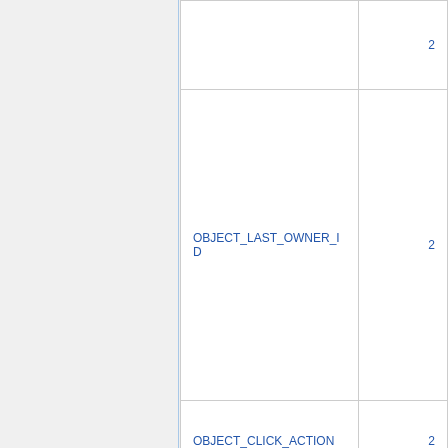|  | 2 |
| OBJECT_LAST_OWNER_ID | 2 |
| OBJECT_CLICK_ACTION | 2 |
| OBJECT_OMEGA | 2 |